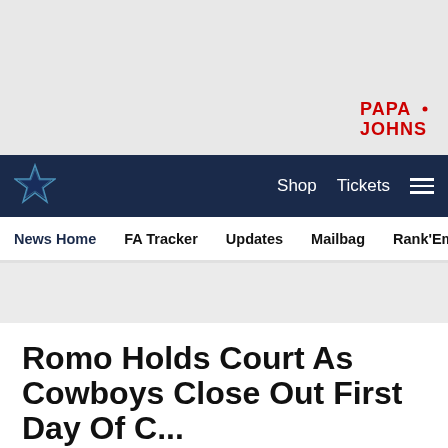[Figure (logo): Papa Johns logo in red text, top right of ad banner area]
Dallas Cowboys navigation bar with star logo, Shop, Tickets, and hamburger menu
News Home | FA Tracker | Updates | Mailbag | Rank'Em | Cowbuz...
Romo Holds Court As Cowboys Close Out First Day Of ...